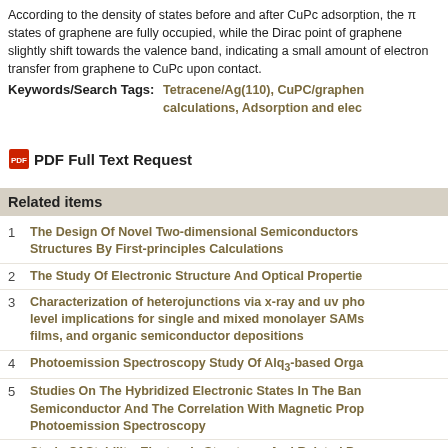According to the density of states before and after CuPc adsorption, the π states of graphene are fully occupied, while the Dirac point of graphene slightly shift towards the valence band, indicating a small amount of electron transfer from graphene to CuPc upon contact.
Keywords/Search Tags: Tetracene/Ag(110), CuPC/graphene, First-principles calculations, Adsorption and elec
PDF Full Text Request
Related items
The Design Of Novel Two-dimensional Semiconductors Structures By First-principles Calculations
The Study Of Electronic Structure And Optical Properties
Characterization of heterojunctions via x-ray and uv pho level implications for single and mixed monolayer SAMs films, and organic semiconductor depositions
Photoemission Spectroscopy Study Of Alq3-based Orga
Studies On The Hybridized Electronic States In The Ban Semiconductor And The Correlation With Magnetic Prop Photoemission Spectroscopy
Study Of Stability, Electronic Structures And Related Pr principles Calculations